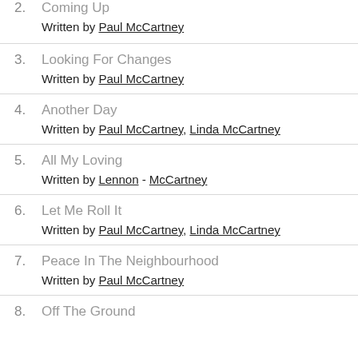2. Coming Up
Written by Paul McCartney
3. Looking For Changes
Written by Paul McCartney
4. Another Day
Written by Paul McCartney, Linda McCartney
5. All My Loving
Written by Lennon - McCartney
6. Let Me Roll It
Written by Paul McCartney, Linda McCartney
7. Peace In The Neighbourhood
Written by Paul McCartney
8. Off The Ground